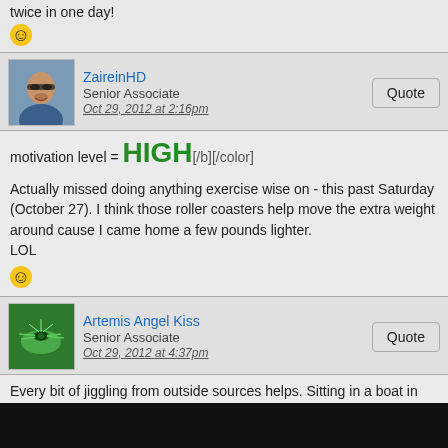twice in one day!
[Figure (illustration): Yellow smiley face emoji]
ZaireinHD
Senior Associate
Oct 29, 2012 at 2:16pm
[Figure (photo): Avatar photo of ZaireinHD - man with sunglasses]
motivation level = HIGH[/b][/color]
Actually missed doing anything exercise wise on - this past Saturday (October 27). I think those roller coasters help move the extra weight around cause I came home a few pounds lighter.
LOL
[Figure (illustration): Yellow smiley face emoji]
Artemis Angel Kiss
Senior Associate
Oct 29, 2012 at 4:37pm
[Figure (photo): Avatar photo of Artemis Angel Kiss - dragonfly on green background]
Every bit of jiggling from outside sources helps. Sitting in a boat in waves will wear a person out. The vibration of a golf car or regular car will help